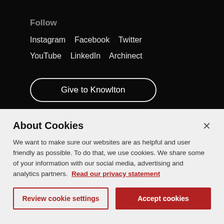Follow
Instagram   Facebook   Twitter
YouTube   LinkedIn   Archinect
Give to Knowlton
Sign up to receive occasional emails about
About Cookies
We want to make sure our websites are as helpful and user friendly as possible. To do that, we use cookies. We share some of your information with our social media, advertising and analytics partners.  Read our privacy statement
Review cookie settings
Accept cookies